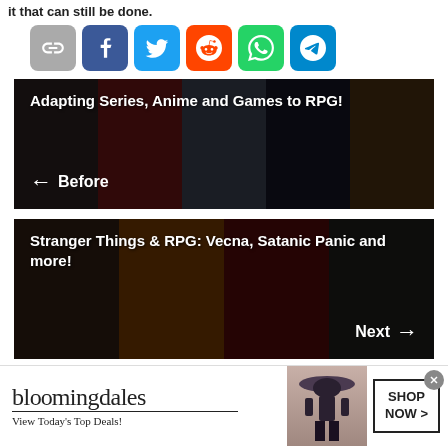it that can still be done.
[Figure (infographic): Social sharing icons: link/chain (gray), Facebook (blue), Twitter (blue), Reddit (orange-red), WhatsApp (green), Telegram (blue)]
[Figure (illustration): Navigation banner with darkened collage of characters (Spider-Man, Harry Potter, Batman, anime character, person with glasses). Title: 'Adapting Series, Anime and Games to RPG!' with left arrow and 'Before' text.]
[Figure (illustration): Navigation banner with darkened collage showing Stranger Things characters (Vecna, Demogorgon, etc.) and a Dungeons & Dragons newspaper. Title: 'Stranger Things & RPG: Vecna, Satanic Panic and more!' with right arrow and 'Next' text.]
[Figure (infographic): Bloomingdale's advertisement banner. Text: 'bloomingdales', 'View Today's Top Deals!' with a woman in a wide-brim hat and 'SHOP NOW >' button.]